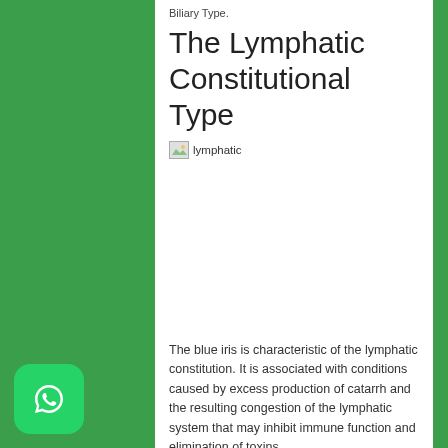Biliary Type.
The Lymphatic Constitutional Type
[Figure (photo): Broken image placeholder labeled 'lymphatic' showing a lymphatic eye iris image that failed to load]
The blue iris is characteristic of the lymphatic constitution. It is associated with conditions caused by excess production of catarrh and the resulting congestion of the lymphatic system that may inhibit immune function and elimination of toxins.
Constitution – Lymphatic
Type – Pure Lymphatic